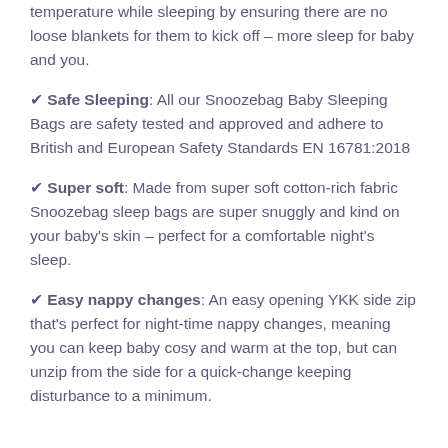temperature while sleeping by ensuring there are no loose blankets for them to kick off – more sleep for baby and you.
✔ Safe Sleeping: All our Snoozebag Baby Sleeping Bags are safety tested and approved and adhere to British and European Safety Standards EN 16781:2018
✔ Super soft: Made from super soft cotton-rich fabric Snoozebag sleep bags are super snuggly and kind on your baby's skin – perfect for a comfortable night's sleep.
✔ Easy nappy changes: An easy opening YKK side zip that's perfect for night-time nappy changes, meaning you can keep baby cosy and warm at the top, but can unzip from the side for a quick-change keeping disturbance to a minimum.